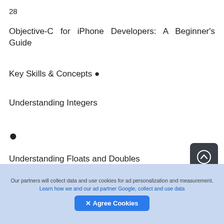28
Objective-C for iPhone Developers: A Beginner's Guide
Key Skills & Concepts •
Understanding Integers
•
Understanding Floats and Doubles
[Figure (other): Scroll-to-top button icon: dark rounded square with circular arrow-up symbol]
•
Our partners will collect data and use cookies for ad personalization and measurement. Learn how we and our ad partner Google, collect and use data
✕ Agree Cookies